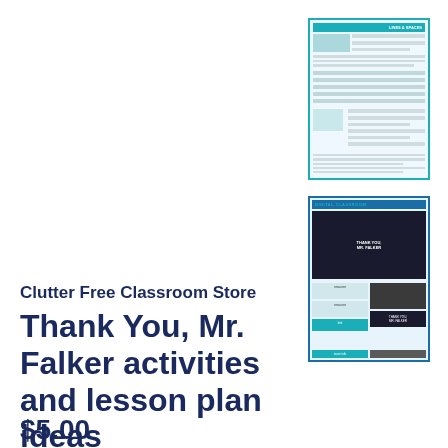[Figure (thumbnail): Thumbnail preview of a classroom worksheet/lesson plan document with teal header and lined sections]
[Figure (thumbnail): Thumbnail preview of a digital classroom document titled 'DIGITAL CLASSROOM' with dark background sections and teal accents]
Clutter Free Classroom Store
Thank You, Mr. Falker activities and lesson plan ideas
$5.00